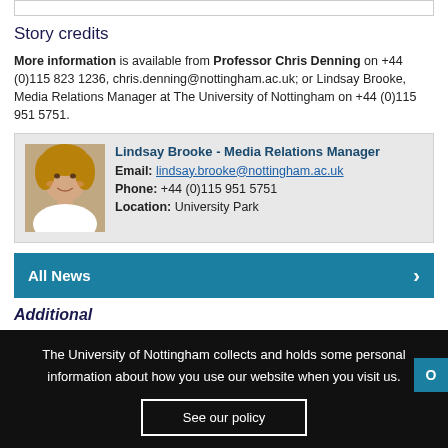Story credits
More information is available from Professor Chris Denning on +44 (0)115 823 1236, chris.denning@nottingham.ac.uk; or Lindsay Brooke, Media Relations Manager at The University of Nottingham on +44 (0)115 951 5751.
[Figure (photo): Headshot photo of Lindsay Brooke, a woman with short blonde hair, smiling]
Lindsay Brooke - Media Relations Manager
Email: lindsay.brooke@nottingham.ac.uk
Phone: +44 (0)115 951 5751
Location: University Park
All News
The University of Nottingham collects and holds some personal information about how you use our website when you visit us.
See our policy